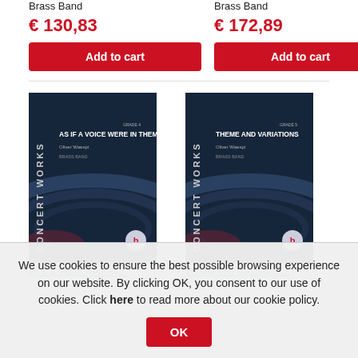Brass Band
€ 130,83
Add to cart
Brass Band
€ 172,89
Add to cart
[Figure (photo): Concert Works book cover: AS IF A VOICE WERE IN THEM, Oliver Waespi, Brass Band]
[Figure (photo): Concert Works book cover: THEME AND VARIATIONS, Oliver Waespi, Brass Band]
We use cookies to ensure the best possible browsing experience on our website. By clicking OK, you consent to our use of cookies. Click here to read more about our cookie policy.
OK